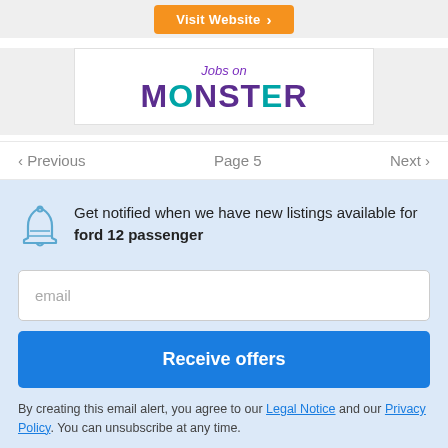[Figure (other): Orange 'Visit Website' button with arrow on gray background]
[Figure (logo): Jobs on Monster logo — purple and teal Monster.com brand logo]
< Previous   Page 5   Next >
Get notified when we have new listings available for ford 12 passenger
email
Receive offers
By creating this email alert, you agree to our Legal Notice and our Privacy Policy. You can unsubscribe at any time.